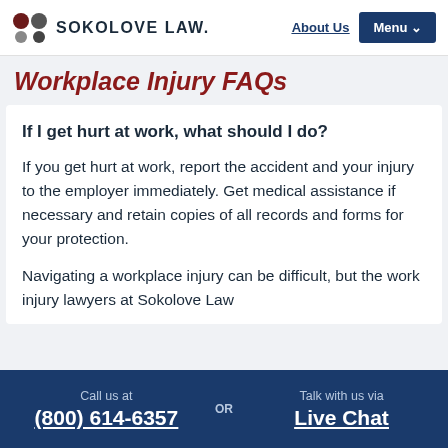SOKOLOVE LAW | About Us | Menu
Workplace Injury FAQs
If I get hurt at work, what should I do?
If you get hurt at work, report the accident and your injury to the employer immediately. Get medical assistance if necessary and retain copies of all records and forms for your protection.
Navigating a workplace injury can be difficult, but the work injury lawyers at Sokolove Law
Call us at (800) 614-6357 OR Talk with us via Live Chat